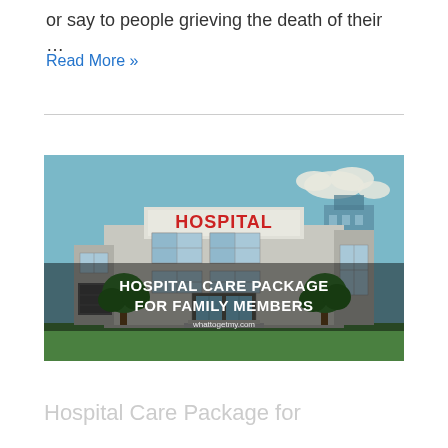or say to people grieving the death of their …
Read More »
[Figure (illustration): Cartoon illustration of a hospital building with sign reading 'HOSPITAL', with overlay text 'HOSPITAL CARE PACKAGE FOR FAMILY MEMBERS' and watermark 'whattogetmy.com']
Hospital Care Package for